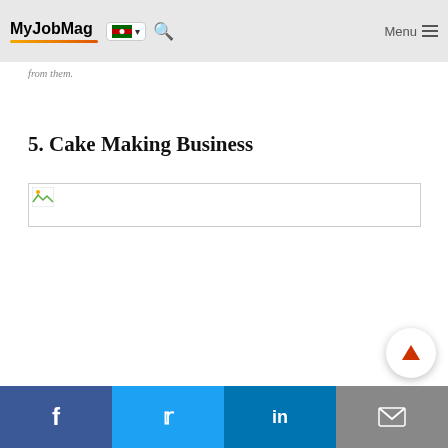MyJobMag — Menu
from them.
5. Cake Making Business
[Figure (photo): Broken image placeholder for cake making business photo]
Facebook | Twitter | LinkedIn | Mail